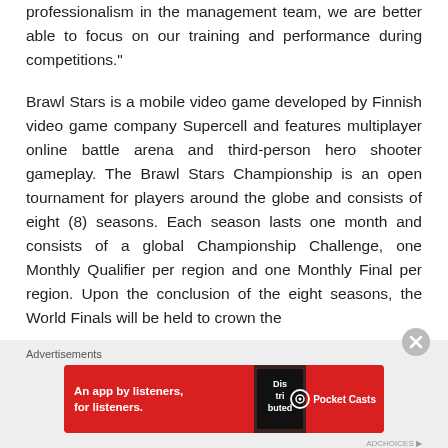professionalism in the management team, we are better able to focus on our training and performance during competitions."
Brawl Stars is a mobile video game developed by Finnish video game company Supercell and features multiplayer online battle arena and third-person hero shooter gameplay. The Brawl Stars Championship is an open tournament for players around the globe and consists of eight (8) seasons. Each season lasts one month and consists of a global Championship Challenge, one Monthly Qualifier per region and one Monthly Final per region. Upon the conclusion of the eight seasons, the World Finals will be held to crown the
Advertisements
[Figure (infographic): Red advertisement banner for Pocket Casts app: 'An app by listeners, for listeners.' with Pocket Casts logo and a phone image showing the app.]